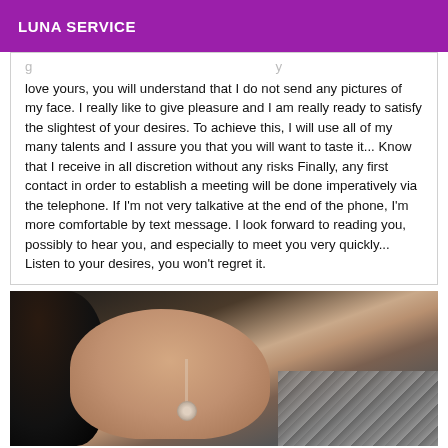LUNA SERVICE
love yours, you will understand that I do not send any pictures of my face. I really like to give pleasure and I am really ready to satisfy the slightest of your desires. To achieve this, I will use all of my many talents and I assure you that you will want to taste it... Know that I receive in all discretion without any risks Finally, any first contact in order to establish a meeting will be done imperatively via the telephone. If I'm not very talkative at the end of the phone, I'm more comfortable by text message. I look forward to reading you, possibly to hear you, and especially to meet you very quickly... Listen to your desires, you won't regret it.
[Figure (photo): Close-up photo of a person showing their torso/chest area with dark hair visible, wearing a necklace with a pendant, and checked/plaid fabric visible on the right side.]